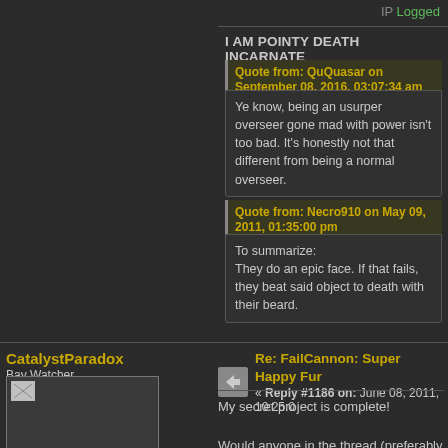IP Logged
I AM POINTY DEATH INCARNATE
Quote from: QuQuasar on September 08, 2016, 03:07:34 am
Ye know, being an usurper overseer gone mad with power isn't too bad. It's honestly not that different from being a normal overseer.
Quote from: Necro910 on May 09, 2011, 01:35:00 pm
To summarize:
They do an epic face. If that fails, they beat said object to death with their beard.
CatalystParadox
Bay Watcher
[Figure (photo): User avatar image (broken/placeholder)]
hi ho, hi ho...
Re: FailCannon: Super Happy Fur
« Reply #1186 on: June 08, 2011, 10:25:0
My secret project is complete!

Would anyone in the thread (preferably OP's opinion?) mind if I did an 'alternate universe' update using the current save? Either an adventure-mode exploration or a "how quickly and hilariously can I run this thing into the ground?" sort of play.